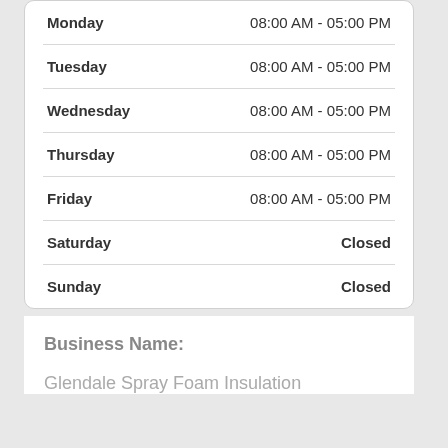| Day | Hours |
| --- | --- |
| Monday | 08:00 AM - 05:00 PM |
| Tuesday | 08:00 AM - 05:00 PM |
| Wednesday | 08:00 AM - 05:00 PM |
| Thursday | 08:00 AM - 05:00 PM |
| Friday | 08:00 AM - 05:00 PM |
| Saturday | Closed |
| Sunday | Closed |
Business Name:
Glendale Spray Foam Insulation